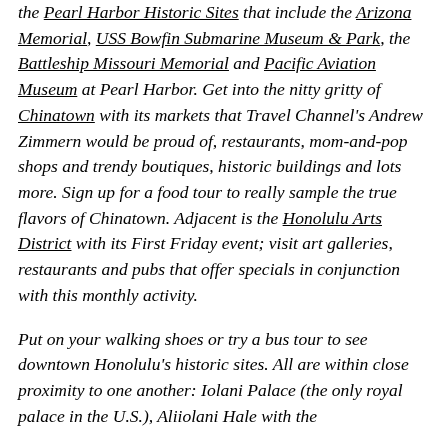the Pearl Harbor Historic Sites that include the Arizona Memorial, USS Bowfin Submarine Museum & Park, the Battleship Missouri Memorial and Pacific Aviation Museum at Pearl Harbor. Get into the nitty gritty of Chinatown with its markets that Travel Channel's Andrew Zimmern would be proud of, restaurants, mom-and-pop shops and trendy boutiques, historic buildings and lots more. Sign up for a food tour to really sample the true flavors of Chinatown. Adjacent is the Honolulu Arts District with its First Friday event; visit art galleries, restaurants and pubs that offer specials in conjunction with this monthly activity.
Put on your walking shoes or try a bus tour to see downtown Honolulu's historic sites. All are within close proximity to one another: Iolani Palace (the only royal palace in the U.S.), Aliiolani Hale with the